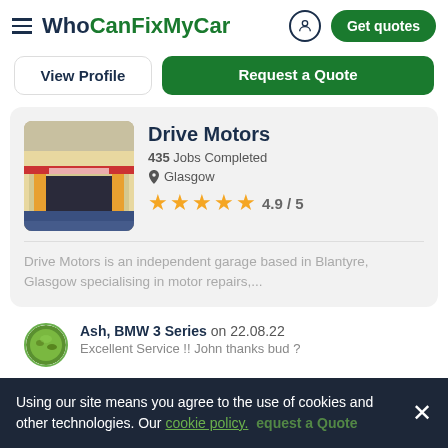WhoCanFixMyCar — Get quotes
View Profile | Request a Quote
Drive Motors
435 Jobs Completed
Glasgow
4.9 / 5
Drive Motors is an independent garage based in Blantyre, Glasgow specialising in motor repairs,...
Ash, BMW 3 Series on 22.08.22
Excellent Service !! John thanks bud ?
Using our site means you agree to the use of cookies and other technologies. Our cookie policy.